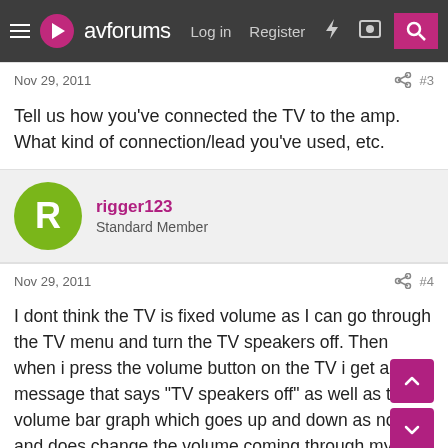avforums  Log in  Register
Nov 29, 2011  #3
Tell us how you've connected the TV to the amp. What kind of connection/lead you've used, etc.
rigger123
Standard Member
Nov 29, 2011  #4
I dont think the TV is fixed volume as I can go through the TV menu and turn the TV speakers off. Then when i press the volume button on the TV i get a message that says "TV speakers off" as well as the volume bar graph which goes up and down as normal and does change the volume coming through my Hi-Fi speakers. Originally i left the TV volume where it was (half way) which meant i had to turn the Denon up to 25 to be heard. I then noticed the clipping/distortion and turned the TV volume up to full, so that the Denon is now at its normal 12